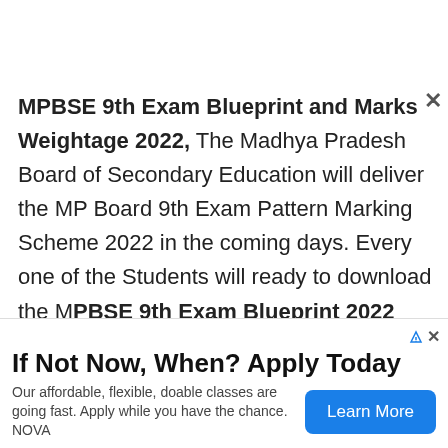MPBSE 9th Exam Blueprint and Marks Weightage 2022, The Madhya Pradesh Board of Secondary Education will deliver the MP Board 9th Exam Pattern Marking Scheme 2022 in the coming days. Every one of the Students will ready to download the MPBSE 9th Exam Blueprint 2022 from the board
[Figure (other): Advertisement banner: 'If Not Now, When? Apply Today' with Learn More button for NOVA affordable flexible doable classes]